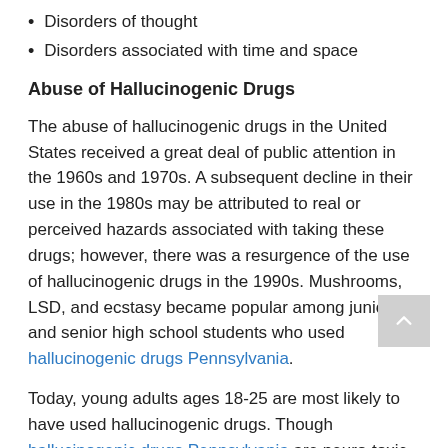Disorders of thought
Disorders associated with time and space
Abuse of Hallucinogenic Drugs
The abuse of hallucinogenic drugs in the United States received a great deal of public attention in the 1960s and 1970s. A subsequent decline in their use in the 1980s may be attributed to real or perceived hazards associated with taking these drugs; however, there was a resurgence of the use of hallucinogenic drugs in the 1990s. Mushrooms, LSD, and ecstasy became popular among junior and senior high school students who used hallucinogenic drugs Pennsylvania.
Today, young adults ages 18-25 are most likely to have used hallucinogenic drugs. Though hallucinogenic drugs Pennsylvania are neuro-toxic to humans, the most